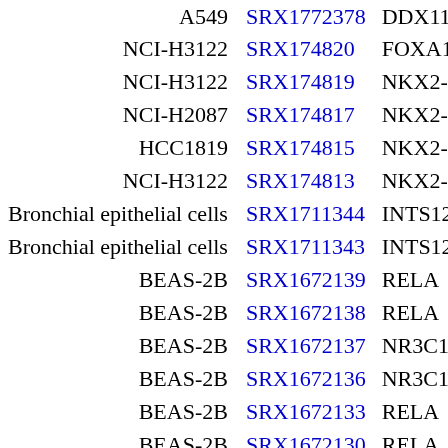| Cell/Sample | SRX ID | Gene |
| --- | --- | --- |
| A549 | SRX1772378 | DDX11 |
| NCI-H3122 | SRX174820 | FOXA1 |
| NCI-H3122 | SRX174819 | NKX2-1 |
| NCI-H2087 | SRX174817 | NKX2-1 |
| HCC1819 | SRX174815 | NKX2-1 |
| NCI-H3122 | SRX174813 | NKX2-1 |
| Bronchial epithelial cells | SRX1711344 | INTS12 |
| Bronchial epithelial cells | SRX1711343 | INTS12 |
| BEAS-2B | SRX1672139 | RELA |
| BEAS-2B | SRX1672138 | RELA |
| BEAS-2B | SRX1672137 | NR3C1 |
| BEAS-2B | SRX1672136 | NR3C1 |
| BEAS-2B | SRX1672133 | RELA |
| BEAS-2B | SRX1672130 | RELA |
| BEAS-2B | SRX1672129 | RELA |
| BEAS-2B | SRX1672128 | NR3C1 |